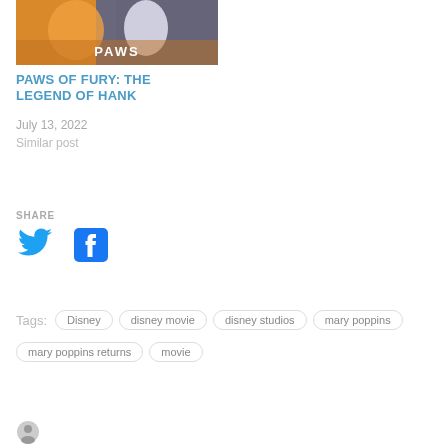[Figure (photo): Movie poster for Paws of Fury: The Legend of Hank showing animated cat characters]
PAWS OF FURY: THE LEGEND OF HANK
July 13, 2022
Similar post
SHARE
[Figure (logo): Twitter bird logo in blue]
[Figure (logo): Facebook logo in dark blue]
Tags:  Disney  disney movie  disney studios  mary poppins  mary poppins returns  movie